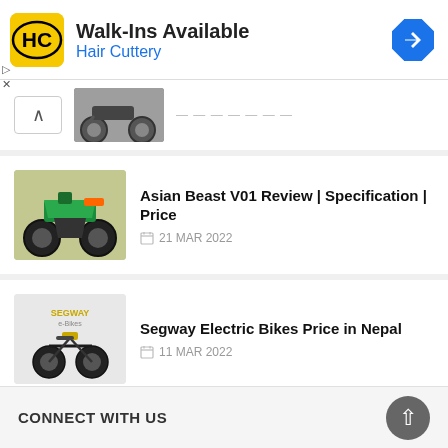[Figure (screenshot): Hair Cuttery advertisement banner with logo, 'Walk-Ins Available' heading, and navigation arrow icon]
[Figure (photo): Partially visible thumbnail of a motorcycle at top of list]
Asian Beast V01 Review | Specification | Price
21 MAR 2022
Segway Electric Bikes Price in Nepal
11 MAR 2022
CONNECT WITH US